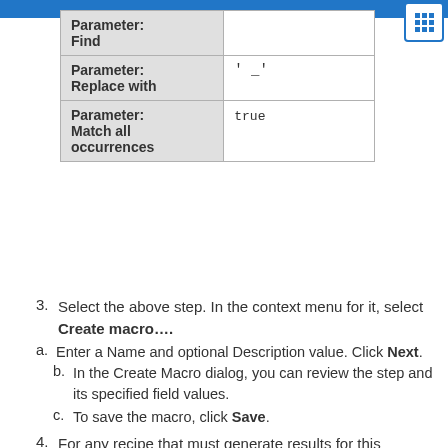| Parameter | Value |
| --- | --- |
| Parameter: Find |  |
| Parameter: Replace with | ' _' |
| Parameter: Match all occurrences | true |
3. Select the above step. In the context menu for it, select Create macro….
a. Enter a Name and optional Description value. Click Next.
b. In the Create Macro dialog, you can review the step and its specified field values.
c. To save the macro, click Save.
4. For any recipe that must generate results for this